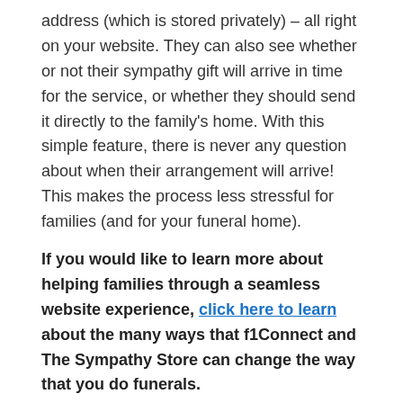address (which is stored privately) – all right on your website. They can also see whether or not their sympathy gift will arrive in time for the service, or whether they should send it directly to the family's home. With this simple feature, there is never any question about when their arrangement will arrive! This makes the process less stressful for families (and for your funeral home).
If you would like to learn more about helping families through a seamless website experience, click here to learn about the many ways that f1Connect and The Sympathy Store can change the way that you do funerals.
[Figure (other): Facebook Recommend button with text: One person recommends this. Sign Up to see what your friends recommend.]
Categories: The Sympathy Store